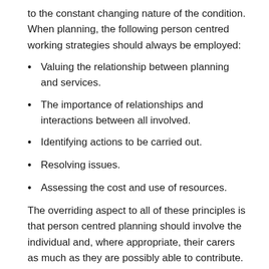to the constant changing nature of the condition. When planning, the following person centred working strategies should always be employed:
Valuing the relationship between planning and services.
The importance of relationships and interactions between all involved.
Identifying actions to be carried out.
Resolving issues.
Assessing the cost and use of resources.
The overriding aspect to all of these principles is that person centred planning should involve the individual and, where appropriate, their carers as much as they are possibly able to contribute. Any kind of care and support should be tailored and delivered in line with the individuals preferences and